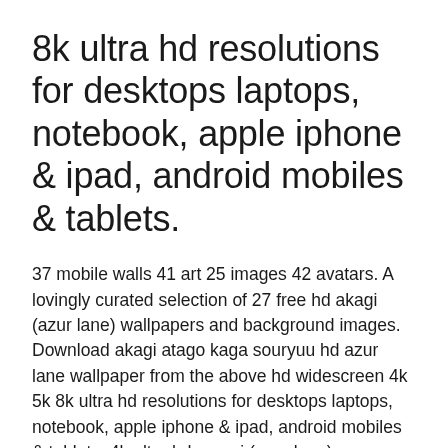8k ultra hd resolutions for desktops laptops, notebook, apple iphone & ipad, android mobiles & tablets.
37 mobile walls 41 art 25 images 42 avatars. A lovingly curated selection of 27 free hd akagi (azur lane) wallpapers and background images. Download akagi atago kaga souryuu hd azur lane wallpaper from the above hd widescreen 4k 5k 8k ultra hd resolutions for desktops laptops, notebook, apple iphone & ipad, android mobiles & tablets. 4k ultra hd amagi (azur lane) wallpapers. 4k ultra hd kaga (azur lane) wallpapers. 07/01/2021 · hd resolutions 1280 x 720 1366 x 768 1600 x 900 1920 x 1080 original. Amagi animal ears blue eyes flower kimono long hair. Akagi atago kaga takao hd azur lane is part of the games wallpapers.